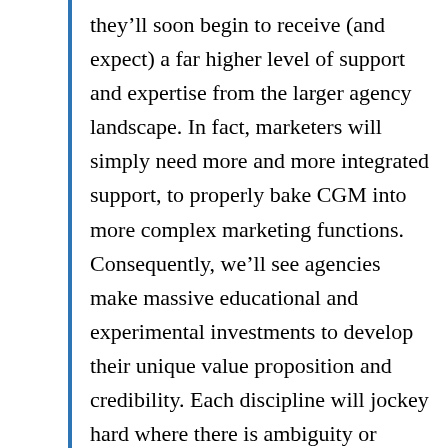they'll soon begin to receive (and expect) a far higher level of support and expertise from the larger agency landscape. In fact, marketers will simply need more and more integrated support, to properly bake CGM into more complex marketing functions. Consequently, we'll see agencies make massive educational and experimental investments to develop their unique value proposition and credibility. Each discipline will jockey hard where there is ambiguity or overlap of ownership